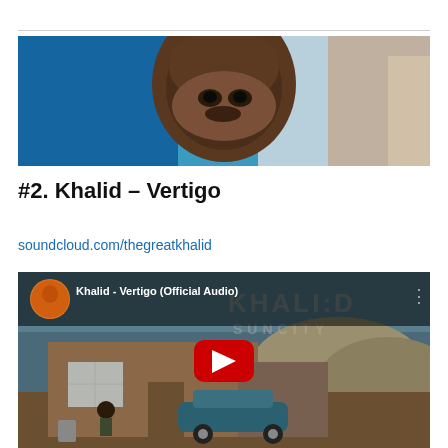[Figure (photo): Close-up photo of Khalid, a young Black man, smiling slightly, against a blue/teal background]
#2. Khalid – Vertigo
soundcloud.com/thegreatkhalid
[Figure (screenshot): YouTube video embed thumbnail for Khalid - Vertigo (Official Audio), showing a brick house with a classic car parked outside, desert landscape, with YouTube play button overlay and KHALID SUNCITY text watermark. Channel avatar shows Khalid in orange jacket.]